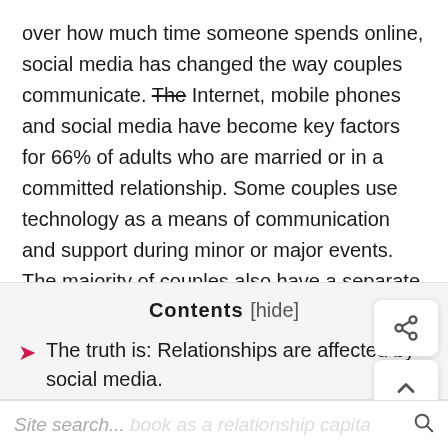over how much time someone spends online, social media has changed the way couples communicate. The Internet, mobile phones and social media have become key factors for 66% of adults who are married or in a committed relationship. Some couples use technology as a means of communication and support during minor or major events. The majority of couples also have a separate email and social media account.
Contents [hide]
The truth is: Relationships are affected by social media.
Site search... book as a relationship capita